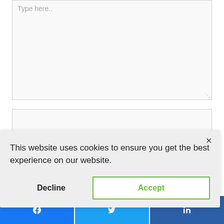[Figure (screenshot): Textarea input field with placeholder text 'Type here..' and resize handle in bottom-right corner]
[Figure (screenshot): Empty input box / form field]
This website uses cookies to ensure you get the best experience on our website.
Decline
Accept
[Figure (screenshot): Social share buttons bar: Facebook (blue), Twitter (cyan), LinkedIn (dark blue)]